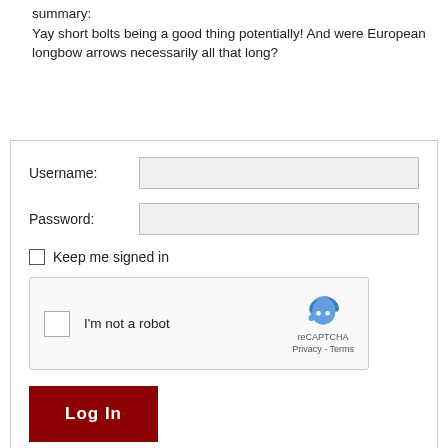summary:
Yay short bolts being a good thing potentially! And were European longbow arrows necessarily all that long?
[Figure (screenshot): Login form with username and password fields, Keep me signed in checkbox, reCAPTCHA widget, Log In button, and Register link]